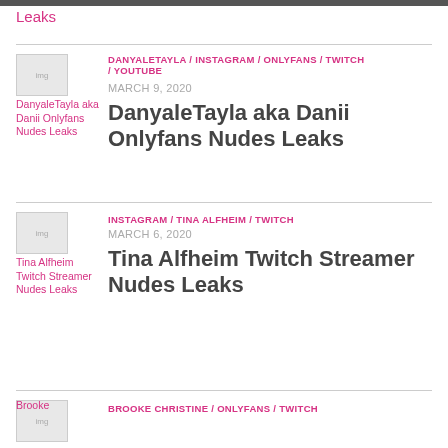Leaks
DANYALETAYLA / INSTAGRAM / ONLYFANS / TWITCH / YOUTUBE
MARCH 9, 2020
DanyaleTayla aka Danii Onlyfans Nudes Leaks
INSTAGRAM / TINA ALFHEIM / TWITCH
MARCH 6, 2020
Tina Alfheim Twitch Streamer Nudes Leaks
BROOKE CHRISTINE / ONLYFANS / TWITCH